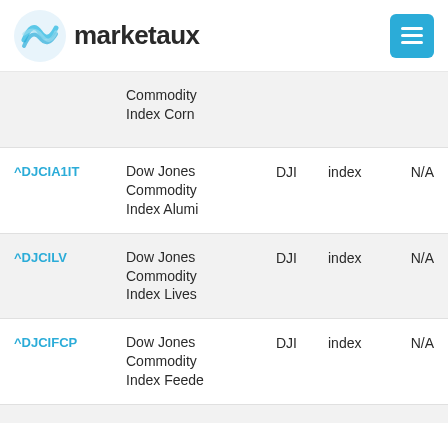marketaux
| Symbol | Name | Exchange | Type | Price |
| --- | --- | --- | --- | --- |
|  | Dow Jones Commodity Index Corn |  |  |  |
| ^DJCIA1IT | Dow Jones Commodity Index Alumi | DJI | index | N/A |
| ^DJCILV | Dow Jones Commodity Index Lives | DJI | index | N/A |
| ^DJCIFCP | Dow Jones Commodity Index Feede | DJI | index | N/A |